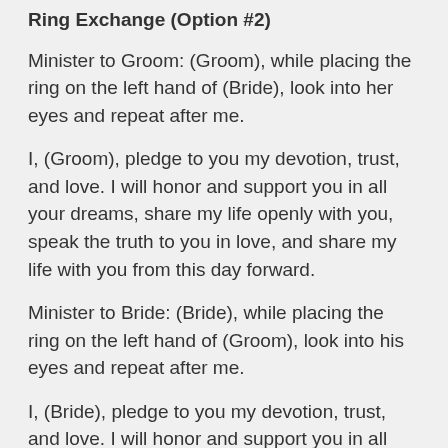Ring Exchange (Option #2)
Minister to Groom: (Groom), while placing the ring on the left hand of (Bride), look into her eyes and repeat after me.
I, (Groom), pledge to you my devotion, trust, and love. I will honor and support you in all your dreams, share my life openly with you, speak the truth to you in love, and share my life with you from this day forward.
Minister to Bride: (Bride), while placing the ring on the left hand of (Groom), look into his eyes and repeat after me.
I, (Bride), pledge to you my devotion, trust, and love. I will honor and support you in all your dreams, share my life openly with you, speak the truth to you in love, and share my life with you from this day forward.
Blessing